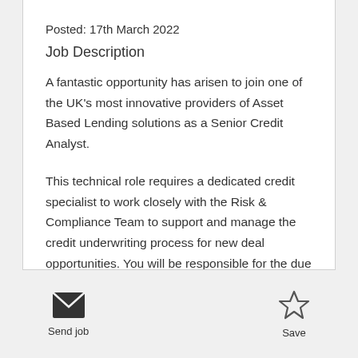Posted: 17th March 2022
Job Description
A fantastic opportunity has arisen to join one of the UK's most innovative providers of Asset Based Lending solutions as a Senior Credit Analyst.
This technical role requires a dedicated credit specialist to work closely with the Risk & Compliance Team to support and manage the credit underwriting process for new deal opportunities. You will be responsible for the due diligence process and providing constructive challenge to deal
Send job
Save